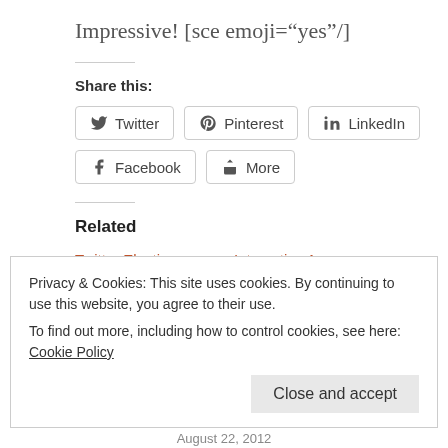Impressive! [sce emoji="yes"/]
Share this:
Twitter | Pinterest | LinkedIn | Facebook | More
Related
Twitter Elections experiment implementation
Interactive Azure vs AWS capablity & service map
Privacy & Cookies: This site uses cookies. By continuing to use this website, you agree to their use.
To find out more, including how to control cookies, see here: Cookie Policy
Close and accept
August 22, 2012